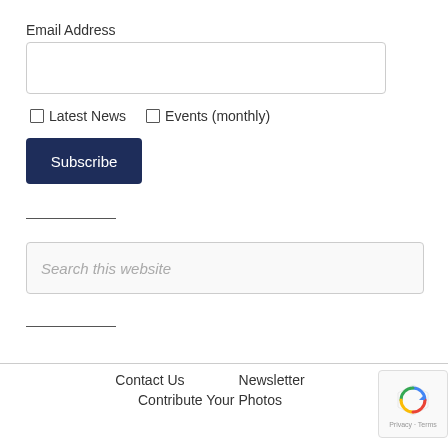Email Address
[Figure (screenshot): Email address text input field, empty]
Latest News
Events (monthly)
Subscribe
[Figure (screenshot): Search this website input field]
Contact Us   Newsletter   Contribute Your Photos